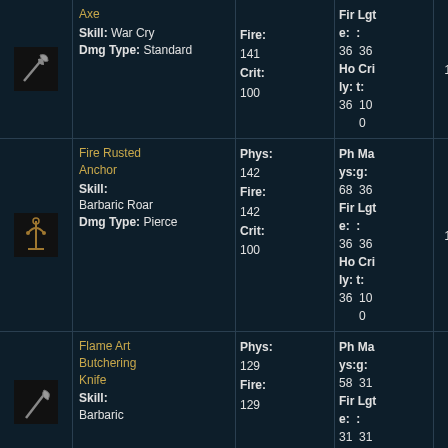| Icon | Name/Skill/DmgType | Phys/Fire/Crit | Phys/Mag/Fire/Lgt/Holy/Crit | Weight |
| --- | --- | --- | --- | --- |
| [axe icon] | Axe
Skill: War Cry
Dmg Type: Standard | 141
141
100 | Ph ys: 36 Mag: 36
Fir e: 36 Lgt: 36
Ho ly: 36 Cri t: 100 | 12.5 |
| [anchor icon] | Fire Rusted Anchor
Skill: Barbaric Roar
Dmg Type: Pierce | Phys: 142
Fire: 142
Crit: 100 | Ph ys: 68 Ma g: 36
Fir e: 36 Lgt: 36
Ho ly: 36 Cri t: 100 | 12.5 |
| [knife icon] | Flame Art Butchering Knife
Skill: Barbaric | Phys: 129
Fire: 129 | Ph ys: 58 Ma g: 31
Fir e: 31 Lgt: 31 | 8.5 |